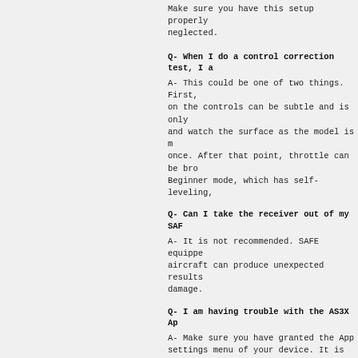Make sure you have this setup properly neglected.
Q- When I do a control correction test, I a
A- This could be one of two things. First, on the controls can be subtle and is only and watch the surface as the model is m once. After that point, throttle can be bro Beginner mode, which has self-leveling,
Q- Can I take the receiver out of my SAF
A- It is not recommended. SAFE equippe aircraft can produce unexpected results damage.
Q- I am having trouble with the AS3X Ap
A- Make sure you have granted the App settings menu of your device. It is Import delete all previous versions of the softwa
Q- Can I enable SAFE technology in an
A- Open stock AS3X receivers do not ha